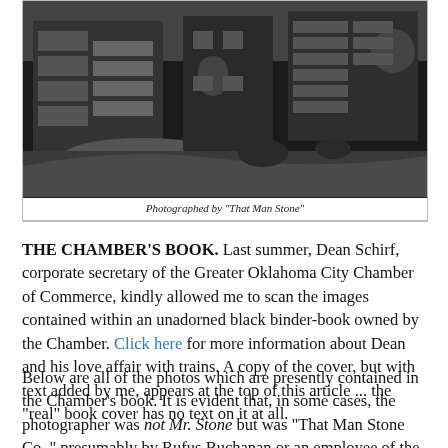[Figure (photo): Black-and-white photograph of a large multi-story building complex, appearing to be a historic architectural photo showing a sprawling structure with terraced levels set against a hillside or landscape.]
Photographed by "That Man Stone"
THE CHAMBER'S BOOK. Last summer, Dean Schirf, corporate secretary of the Greater Oklahoma City Chamber of Commerce, kindly allowed me to scan the images contained within an unadorned black binder-book owned by the Chamber. Click here for more information about Dean and his love affair with trains. A copy of the cover, but with text added by me, appears at the top of this article ... the "real" book cover has no text on it at all.
Below are all of the photos which are presently contained in the Chamber's book. It is evident that, in some cases, the photographer was not Mr. Stone but was "That Man Stone Co.," presumably by Rufus Buchanan or an employee of the company after Fred Stone's ownership in the business came to an end. Not many of the photographs have identifying